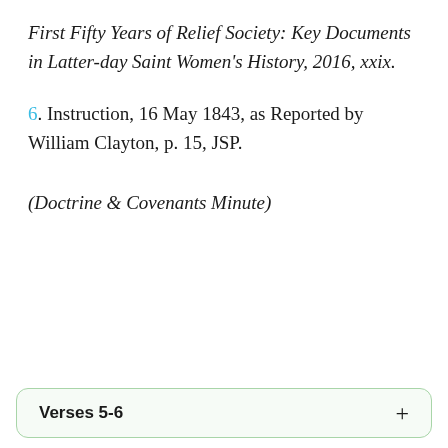First Fifty Years of Relief Society: Key Documents in Latter-day Saint Women's History, 2016, xxix.
6. Instruction, 16 May 1843, as Reported by William Clayton, p. 15, JSP.
(Doctrine & Covenants Minute)
Verses 5-6